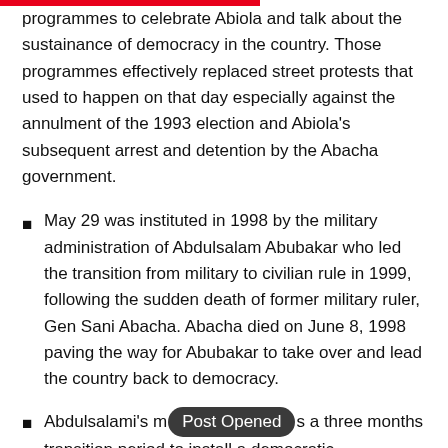programmes to celebrate Abiola and talk about the sustainance of democracy in the country. Those programmes effectively replaced street protests that used to happen on that day especially against the annulment of the 1993 election and Abiola's subsequent arrest and detention by the Abacha government.
May 29 was instituted in 1998 by the military administration of Abdulsalam Abubakar who led the transition from military to civilian rule in 1999, following the sudden death of former military ruler, Gen Sani Abacha. Abacha died on June 8, 1998 paving the way for Abubakar to take over and lead the country back to democracy.
Abdulsalami's [Post Opened] a three months transition period to install a democratic administration on October 1, 1998 to coincide with